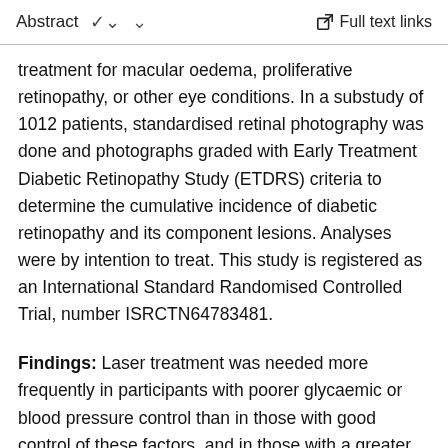Abstract   ∨   Full text links
treatment for macular oedema, proliferative retinopathy, or other eye conditions. In a substudy of 1012 patients, standardised retinal photography was done and photographs graded with Early Treatment Diabetic Retinopathy Study (ETDRS) criteria to determine the cumulative incidence of diabetic retinopathy and its component lesions. Analyses were by intention to treat. This study is registered as an International Standard Randomised Controlled Trial, number ISRCTN64783481.
Findings: Laser treatment was needed more frequently in participants with poorer glycaemic or blood pressure control than in those with good control of these factors, and in those with a greater burden of clinical microvascular disease, but the need for such treatment was not affected by plasma lipid concentrations. The requirement for first laser treatment for all retinopathy was significantly lower in the fenofibrate group than in the